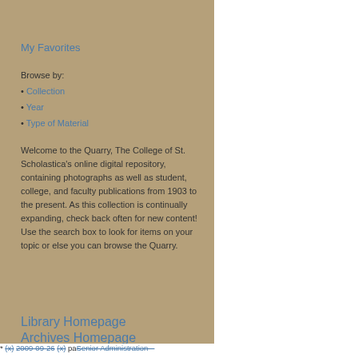My Favorites
Browse by:
• Collection
• Year
• Type of Material
Welcome to the Quarry, The College of St. Scholastica's online digital repository, containing photographs as well as student, college, and faculty publications from 1903 to the present. As this collection is continually expanding, check back often for new content! Use the search box to look for items on your topic or else you can browse the Quarry.
Library Homepage
Archives Homepage
* (x) 2009-09-26 (x) pa Senior Administration –